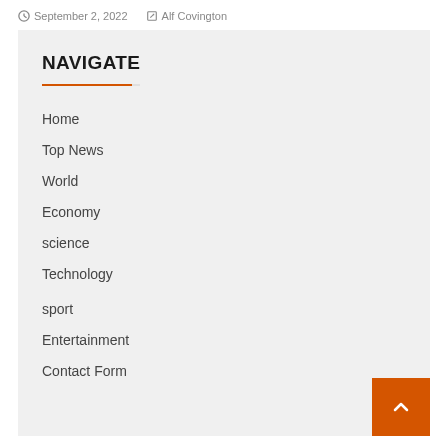September 2, 2022   Alf Covington
NAVIGATE
Home
Top News
World
Economy
science
Technology
sport
Entertainment
Contact Form